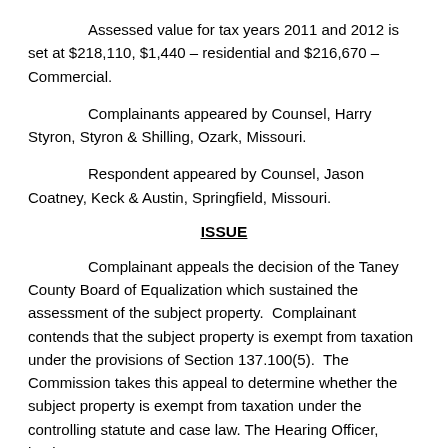Assessed value for tax years 2011 and 2012 is set at $218,110, $1,440 – residential and $216,670 – Commercial.
Complainants appeared by Counsel, Harry Styron, Styron & Shilling, Ozark, Missouri.
Respondent appeared by Counsel, Jason Coatney, Keck & Austin, Springfield, Missouri.
ISSUE
Complainant appeals the decision of the Taney County Board of Equalization which sustained the assessment of the subject property.  Complainant contends that the subject property is exempt from taxation under the provisions of Section 137.100(5).  The Commission takes this appeal to determine whether the subject property is exempt from taxation under the controlling statute and case law. The Hearing Officer, having